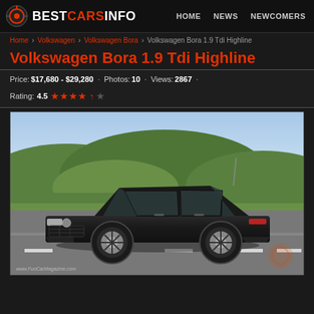BESTCARSINFO | HOME NEWS NEWCOMERS
Home › Volkswagen › Volkswagen Bora › Volkswagen Bora 1.9 Tdi Highline
Volkswagen Bora 1.9 Tdi Highline
Price: $17,680 - $29,280 · Photos: 10 · Views: 2867 · Rating: 4.5 ★★★★★
[Figure (photo): Side profile view of a black Volkswagen Bora 1.9 TDI Highline sedan parked on a road with green hills in background. Watermark: www.FunCarMagazine.com]